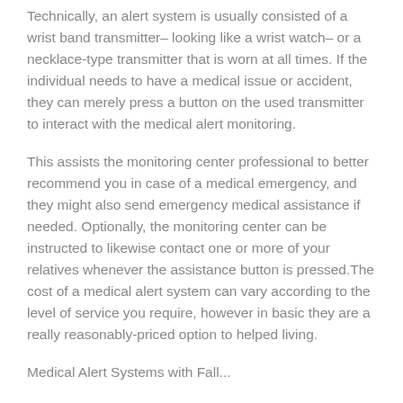Technically, an alert system is usually consisted of a wrist band transmitter– looking like a wrist watch– or a necklace-type transmitter that is worn at all times. If the individual needs to have a medical issue or accident, they can merely press a button on the used transmitter to interact with the medical alert monitoring.
This assists the monitoring center professional to better recommend you in case of a medical emergency, and they might also send emergency medical assistance if needed. Optionally, the monitoring center can be instructed to likewise contact one or more of your relatives whenever the assistance button is pressed.The cost of a medical alert system can vary according to the level of service you require, however in basic they are a really reasonably-priced option to helped living.
Medical Alert Systems with Fall...